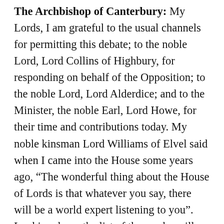The Archbishop of Canterbury: My Lords, I am grateful to the usual channels for permitting this debate; to the noble Lord, Lord Collins of Highbury, for responding on behalf of the Opposition; to the noble Lord, Lord Alderdice; and to the Minister, the noble Earl, Lord Howe, for their time and contributions today. My noble kinsman Lord Williams of Elvel said when I came into the House some years ago, "The wonderful thing about the House of Lords is that whatever you say, there will be a world expert listening to you". Looking down the list of those who will contribute today, I am conscious of the expertise in the House, including a Nobel laureate, and I am greatly looking forward to hearing from noble Lords whose combined expertise and experience is...